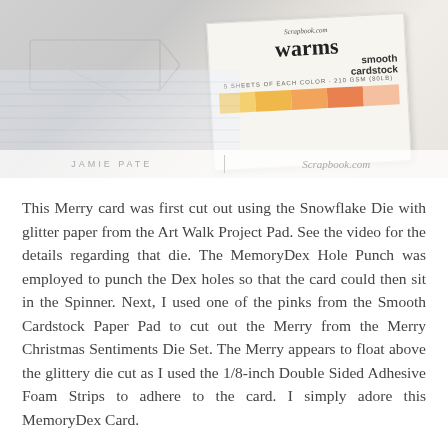[Figure (photo): Photo of craft supplies including a die-cut snowflake/banner shape and a Scrapbook.com Warms Smooth Cardstock box with colorful swatches, with a watermark bar showing 'JAMIE PATE | Scrapbook.com']
This Merry card was first cut out using the Snowflake Die with glitter paper from the Art Walk Project Pad. See the video for the details regarding that die. The MemoryDex Hole Punch was employed to punch the Dex holes so that the card could then sit in the Spinner. Next, I used one of the pinks from the Smooth Cardstock Paper Pad to cut out the Merry from the Merry Christmas Sentiments Die Set. The Merry appears to float above the glittery die cut as I used the 1/8-inch Double Sided Adhesive Foam Strips to adhere to the card. I simply adore this MemoryDex Card.